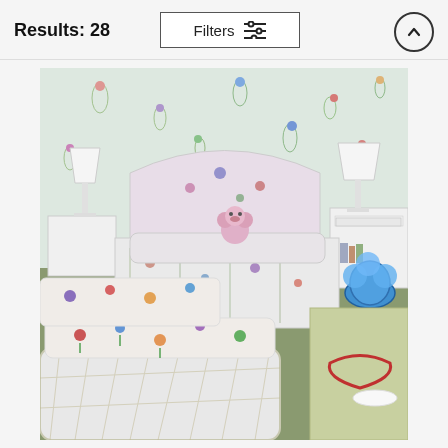Results: 28
Filters
[Figure (photo): Interior bedroom photo showing a bed with floral bedspread and matching wallpaper, a white poodle stuffed animal on the bed, white wicker furniture with floral cushions in the foreground, two white lamps on nightstands, and a blue decorative vase on a table to the right.]